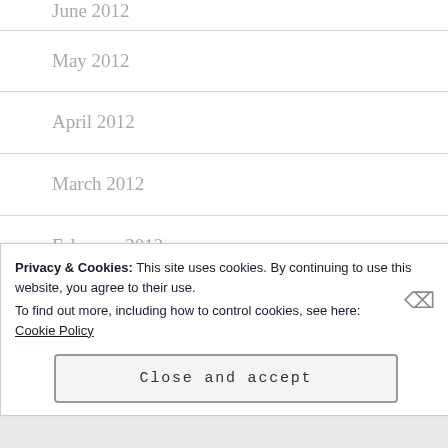June 2012
May 2012
April 2012
March 2012
February 2012
January 2012
Privacy & Cookies: This site uses cookies. By continuing to use this website, you agree to their use.
To find out more, including how to control cookies, see here:
Cookie Policy
Close and accept